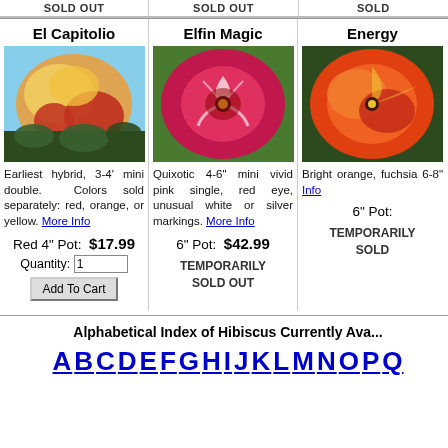SOLD OUT
SOLD OUT
SOLD
El Capitolio
[Figure (photo): Photo of El Capitolio hibiscus flower - orange, red and yellow double blooms]
Earliest hybrid, 3-4' mini double. Colors sold separately: red, orange, or yellow. More Info
Red 4" Pot: $17.99
Quantity: 1
Add To Cart
Elfin Magic
[Figure (photo): Photo of Elfin Magic hibiscus flower - vivid pink single with red eye and white/silver markings]
Quixotic 4-6" mini vivid pink single, red eye, unusual white or silver markings. More Info
6" Pot: $42.99
TEMPORARILY SOLD OUT
Energy
[Figure (photo): Photo of Energy hibiscus flower - bright orange and fuchsia bloom]
Bright orange, fuchsia 6-8" Info
6" Pot:
TEMPORARILY SOLD
Alphabetical Index of Hibiscus Currently Ava...
A B C D E F G H I J K L M N O P Q